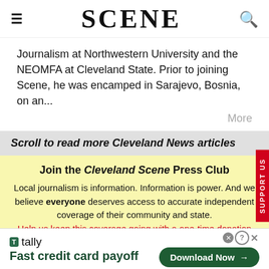SCENE
Journalism at Northwestern University and the NEOMFA at Cleveland State. Prior to joining Scene, he was encamped in Sarajevo, Bosnia, on an...
More
Scroll to read more Cleveland News articles
Join the Cleveland Scene Press Club
Local journalism is information. Information is power. And we believe everyone deserves access to accurate independent coverage of their community and state.
Help us keep this coverage going with a one-time donation or an
[Figure (screenshot): Tally advertisement banner: 'Fast credit card payoff' with Download Now button]